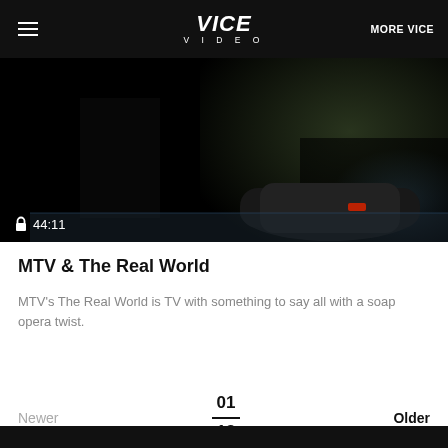VICE VIDEO | MORE VICE
[Figure (screenshot): Dark video thumbnail showing a guitar case on the floor with a lock icon and duration 44:11 in bottom left]
MTV & The Real World
MTV's The Real World is TV with something to say all with a soap opera twist.
Newer  01 / 13  Older